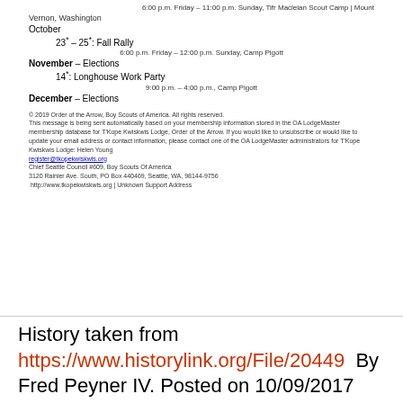6:00 p.m. Friday – 11:00 p.m. Sunday, Tifr Maclelan Scout Camp | Mount
Vernon, Washington
October
23* – 25*: Fall Rally
6:00 p.m. Friday – 12:00 p.m. Sunday, Camp Pigott
November – Elections
14*: Longhouse Work Party
9:00 p.m. – 4:00 p.m., Camp Pigott
December – Elections
© 2019 Order of the Arrow, Boy Scouts of America. All rights reserved. This message is being sent automatically based on your membership information stored in the OA LodgeMaster membership database for T'Kope Kwiskwis Lodge, Order of the Arrow. If you would like to unsubscribe or would like to update your email address or contact information, please contact one of the OA LodgeMaster administrators for T'Kope Kwiskwis Lodge: Helen Young (register@tkopekwiskwis.org). Chief Seattle Council #609, Boy Scouts Of America. 3120 Rainier Ave. South, PO Box 440469, Seattle, WA, 98144-9756. http://www.tkopekwiskwis.org | Unknown Support Address
History taken from https://www.historylink.org/File/20449  By Fred Peyner IV. Posted on 10/09/2017